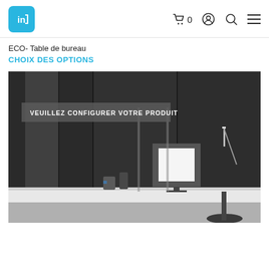ECO- Table de bureau — navigation header with logo and icons
ECO- Table de bureau
CHOIX DES OPTIONS
[Figure (photo): Grayscale photograph of a modern office workspace with desks, a monitor, desk lamp, office chair, and dark concrete wall panels in background. Overlay text reads: VEUILLEZ CONFIGURER VOTRE PRODUIT]